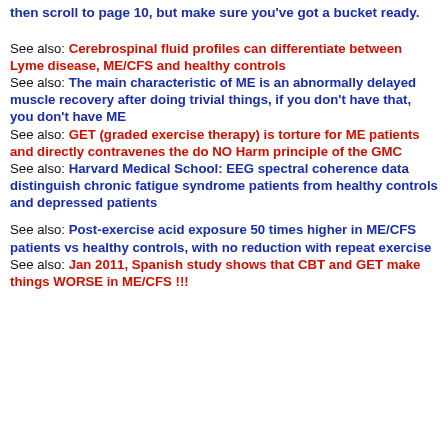then scroll to page 10, but make sure you've got a bucket ready.
See also: Cerebrospinal fluid profiles can differentiate between Lyme disease, ME/CFS and healthy controls
See also: The main characteristic of ME is an abnormally delayed muscle recovery after doing trivial things, if you don't have that, you don't have ME
See also: GET (graded exercise therapy) is torture for ME patients and directly contravenes the do NO Harm principle of the GMC
See also: Harvard Medical School: EEG spectral coherence data distinguish chronic fatigue syndrome patients from healthy controls and depressed patients
See also: Post-exercise acid exposure 50 times higher in ME/CFS patients vs healthy controls, with no reduction with repeat exercise
See also: Jan 2011, Spanish study shows that CBT and GET make things WORSE in ME/CFS !!!